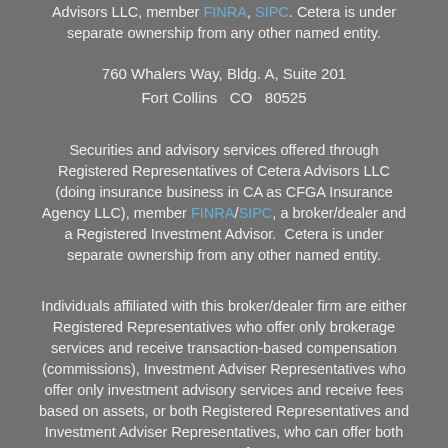Advisors LLC, member FINRA, SIPC. Cetera is under separate ownership from any other named entity.
760 Whalers Way, Bldg. A, Suite 201
Fort Collins  CO  80525
Securities and advisory services offered through Registered Representatives of Cetera Advisors LLC (doing insurance business in CA as CFGA Insurance Agency LLC), member FINRA/SIPC, a broker/dealer and a Registered Investment Advisor. Cetera is under separate ownership from any other named entity.
Individuals affiliated with this broker/dealer firm are either Registered Representatives who offer only brokerage services and receive transaction-based compensation (commissions), Investment Adviser Representatives who offer only investment advisory services and receive fees based on assets, or both Registered Representatives and Investment Adviser Representatives, who can offer both types of